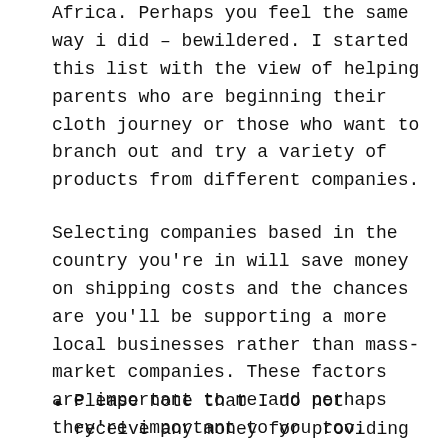Africa. Perhaps you feel the same way i did – bewildered. I started this list with the view of helping parents who are beginning their cloth journey or those who want to branch out and try a variety of products from different companies.
Selecting companies based in the country you're in will save money on shipping costs and the chances are you'll be supporting a more local businesses rather than mass-market companies. These factors are important to me and perhaps they're important to you too.
Please note that I do not receive any money for providing these links or subsequent sales. This